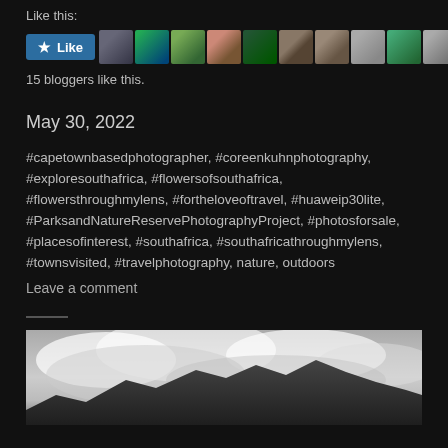Like this:
[Figure (other): WordPress Like button followed by 10 blogger avatar thumbnails]
15 bloggers like this.
May 30, 2022
#capetownbasedphotographer, #coreenkuhnphotography, #exploresouthafrica, #flowersofsouthafrica, #flowersthroughmylens, #fortheloveoftravel, #huaweip30lite, #ParksandNatureReservePhotographyProject, #photosforsale, #placesofinterest, #southafrica, #southafricathroughmylens, #townsvisited, #travelphotography, nature, outdoors
Leave a comment
[Figure (photo): Black and white landscape photo of mountains with cloudy/misty sky]